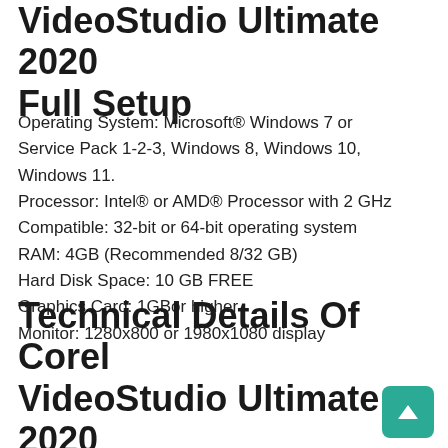VideoStudio Ultimate 2020 Full Setup
Operating System: Microsoft® Windows 7 or Service Pack 1-2-3, Windows 8, Windows 10, Windows 11.
Processor: Intel® or AMD® Processor with 2 GHz
Compatible: 32-bit or 64-bit operating system
RAM: 4GB (Recommended 8/32 GB)
Hard Disk Space: 10 GB FREE
Graphics Card: 1GBor higher
Monitor: 1280x800 or 1980x1080 display
Technical Details Of Corel VideoStudio Ultimate 2020 V23.0.1